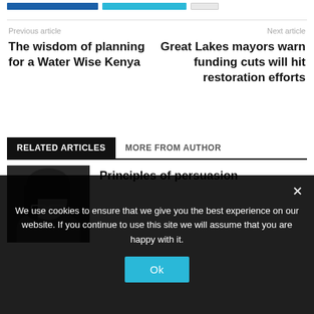[Figure (screenshot): Top navigation bar with dark blue, light blue and outline buttons]
Previous article
The wisdom of planning for a Water Wise Kenya
Next article
Great Lakes mayors warn funding cuts will hit restoration efforts
RELATED ARTICLES	MORE FROM AUTHOR
[Figure (photo): Photo of a woman with glasses and dark hair against dark background]
Principles of persuasion
We use cookies to ensure that we give you the best experience on our website. If you continue to use this site we will assume that you are happy with it.